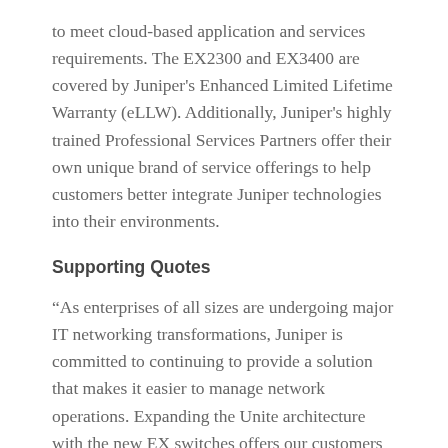to meet cloud-based application and services requirements. The EX2300 and EX3400 are covered by Juniper's Enhanced Limited Lifetime Warranty (eLLW). Additionally, Juniper's highly trained Professional Services Partners offer their own unique brand of service offerings to help customers better integrate Juniper technologies into their environments.
Supporting Quotes
“As enterprises of all sizes are undergoing major IT networking transformations, Juniper is committed to continuing to provide a solution that makes it easier to manage network operations. Expanding the Unite architecture with the new EX switches offers our customers